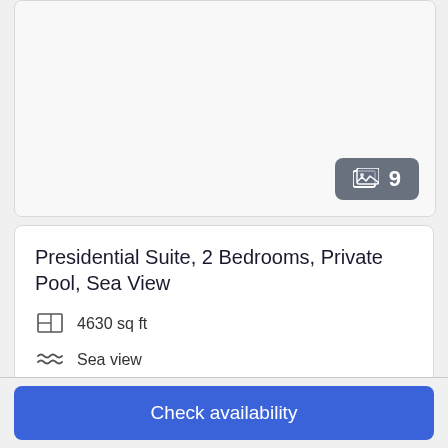[Figure (photo): Hotel room image with photo count badge showing 9 photos]
Presidential Suite, 2 Bedrooms, Private Pool, Sea View
4630 sq ft
Sea view
Sleeps 4
1 King Bed OR 1 Queen Bed
More details >
Choose your dates
Check availability